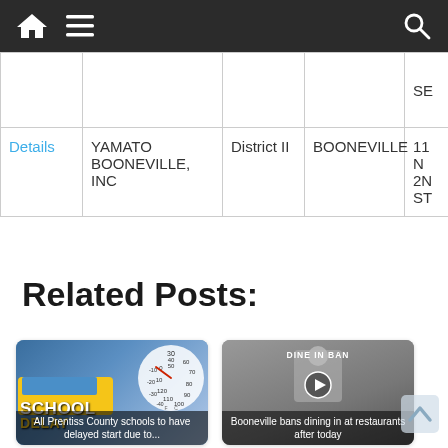Navigation bar with home, menu, and search icons
|  | Name | District | City | Address |
| --- | --- | --- | --- | --- |
|  |  |  |  | SE... |
| Details | YAMATO BOONEVILLE, INC | District II | BOONEVILLE | 11... N... 2N... ST... |
Related Posts:
[Figure (photo): School delay card: school bus with thermometer, text SCHOOL DELAY]
All Prentiss County schools to have delayed start due to...
[Figure (photo): Dine in ban card: man behind counter with DINE IN BAN overlay and video play button]
Booneville bans dining in at restaurants after today